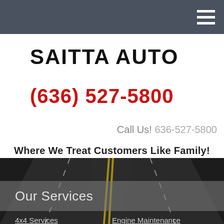Navigation bar with hamburger menu
SAITTA AUTO
(636) 527-5800
Call Us! 636-527-5800
Where We Treat Customers Like Family!
[Figure (photo): Dark road with yellow center lane markings, perspective view]
Our Services
4x4 Services
AC Repair
Batteries
Brakes
Engine Maintenance
General Services
Heating and Cooling Services
Hoses